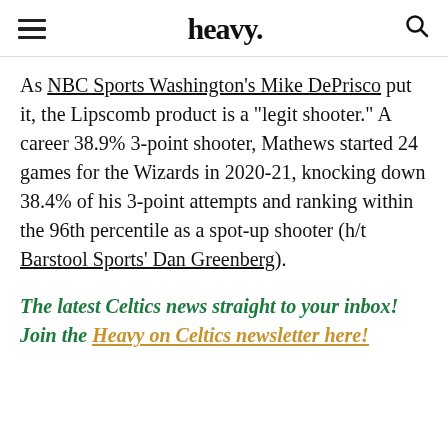heavy.
As NBC Sports Washington's Mike DePrisco put it, the Lipscomb product is a “legit shooter.” A career 38.9% 3-point shooter, Mathews started 24 games for the Wizards in 2020-21, knocking down 38.4% of his 3-point attempts and ranking within the 96th percentile as a spot-up shooter (h/t Barstool Sports’ Dan Greenberg).
The latest Celtics news straight to your inbox! Join the Heavy on Celtics newsletter here!